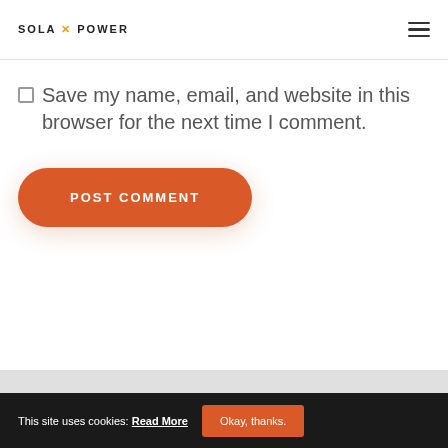SOLA X POWER
Save my name, email, and website in this browser for the next time I comment.
POST COMMENT
This site uses cookies: Read More  Okay, thanks.